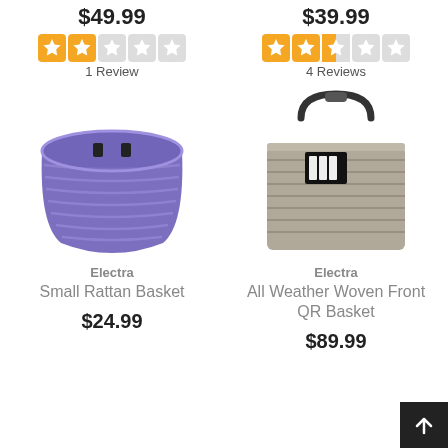$49.99
[Figure (other): Star rating: 2 out of 5 stars (orange filled squares)]
1 Review
$39.99
[Figure (other): Star rating: 2.5 out of 5 stars (orange filled squares)]
4 Reviews
[Figure (photo): Electra Small Rattan Basket - purple woven rattan bicycle basket]
[Figure (photo): Electra All Weather Woven Front QR Basket - gray woven basket with black metal handle]
Electra
Small Rattan Basket
Electra
All Weather Woven Front QR Basket
$24.99
$89.99